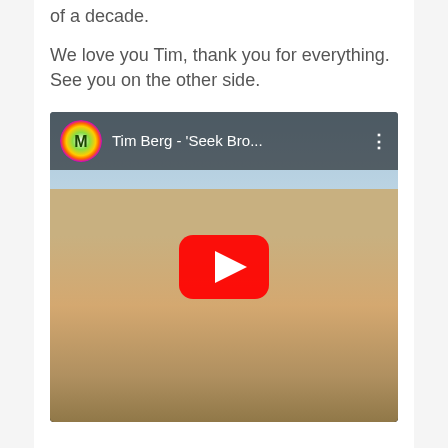of a decade.
We love you Tim, thank you for everything. See you on the other side.
[Figure (screenshot): YouTube video embed showing Tim Berg - 'Seek Bro...' with Ministry of Sound logo, featuring a blonde woman in a black bikini in a convertible car, with red YouTube play button overlay.]